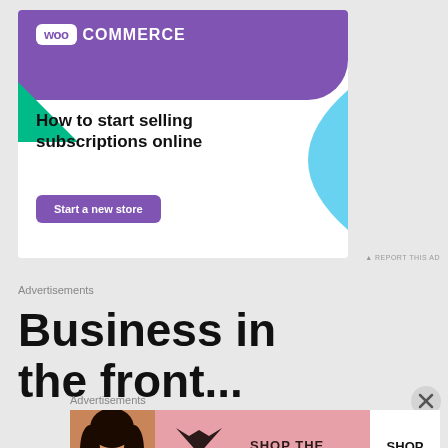[Figure (illustration): WooCommerce advertisement banner with purple header, WooCommerce logo, green triangle and teal blue decorative shapes, headline 'How to start selling subscriptions online', purple 'Start a new store' button]
REPORT THIS AD
Advertisements
Business in the front...
Advertisements
[Figure (illustration): Victoria's Secret advertisement banner with woman's photo on left, Victoria's Secret logo in center, 'SHOP THE COLLECTION' text, and 'SHOP NOW' white button on right, pink background]